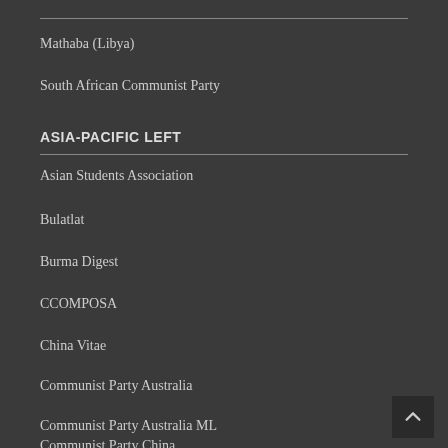Mathaba (Libya)
South African Communist Party
ASIA-PACIFIC LEFT
Asian Students Association
Bulatlat
Burma Digest
CCOMPOSA
China Vitae
Communist Party Australia
Communist Party Australia ML
Communist Party China